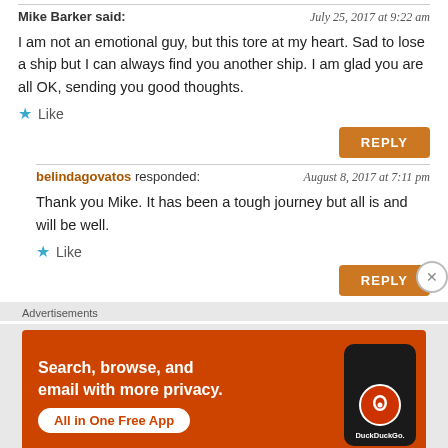I am not an emotional guy, but this tore at my heart. Sad to lose a ship but I can always find you another ship. I am glad you are all OK, sending you good thoughts.
Like
REPLY
belindagovatos responded: August 8, 2017 at 7:11 pm
Thank you Mike. It has been a tough journey but all is and will be well.
Like
REPLY
Advertisements
[Figure (infographic): DuckDuckGo advertisement banner: orange background with text 'Search, browse, and email with more privacy. All in One Free App' and an image of a phone with DuckDuckGo logo]